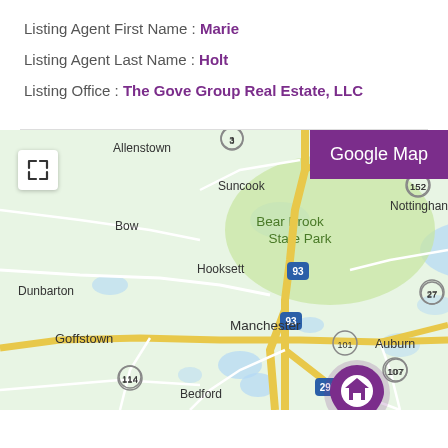Listing Agent First Name : Marie
Listing Agent Last Name : Holt
Listing Office : The Gove Group Real Estate, LLC
[Figure (map): Google Map showing the Manchester, NH area with Bear Brook State Park, surrounding towns (Bow, Suncook, Hooksett, Candia, Raymond, Auburn, Bedford, Goffstown, Deerfield, Nottingham, Allenstown), highways (93, 293, 101, 114, 152, 27, 107, 121A), and a purple house pin marker near Manchester/Auburn area.]